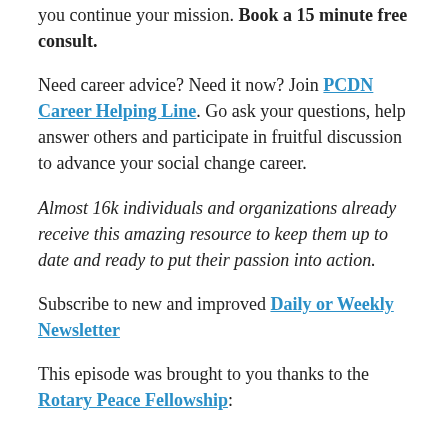you continue your mission. Book a 15 minute free consult.
Need career advice? Need it now? Join PCDN Career Helping Line. Go ask your questions, help answer others and participate in fruitful discussion to advance your social change career.
Almost 16k individuals and organizations already receive this amazing resource to keep them up to date and ready to put their passion into action.
Subscribe to new and improved Daily or Weekly Newsletter
This episode was brought to you thanks to the Rotary Peace Fellowship: